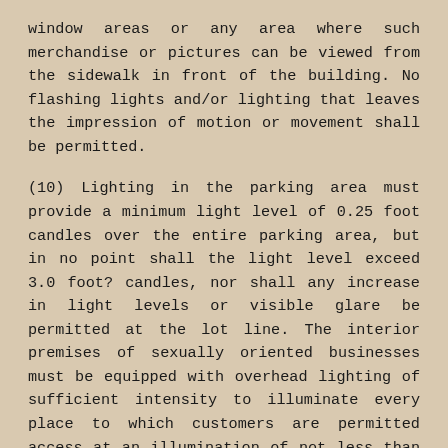window areas or any area where such merchandise or pictures can be viewed from the sidewalk in front of the building. No flashing lights and/or lighting that leaves the impression of motion or movement shall be permitted.
(10) Lighting in the parking area must provide a minimum light level of 0.25 foot candles over the entire parking area, but in no point shall the light level exceed 3.0 foot? candles, nor shall any increase in light levels or visible glare be permitted at the lot line. The interior premises of sexually oriented businesses must be equipped with overhead lighting of sufficient intensity to illuminate every place to which customers are permitted access at an illumination of not less than one foot candle as measured at the floor level, and such illumination must be maintained at all times that any customer or patron is present in or on the premises.
(11) No owner, operator, manager or other person in